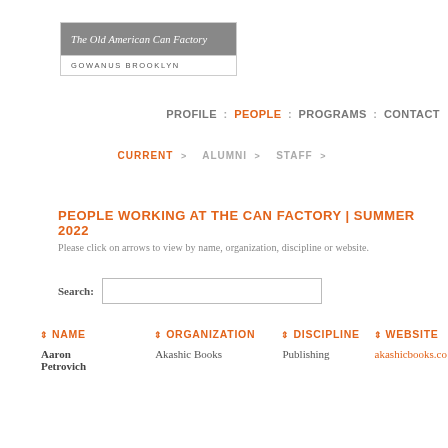[Figure (logo): The Old American Can Factory, Gowanus Brooklyn logo — grey box with white italic text on top, lighter bottom with tracking text]
PROFILE : PEOPLE : PROGRAMS : CONTACT
CURRENT > ALUMNI > STAFF >
PEOPLE WORKING AT THE CAN FACTORY | SUMMER 2022
Please click on arrows to view by name, organization, discipline or website.
Search:
| NAME | ORGANIZATION | DISCIPLINE | WEBSITE |
| --- | --- | --- | --- |
| Aaron Petrovich | Akashic Books | Publishing | akashicbooks.co |